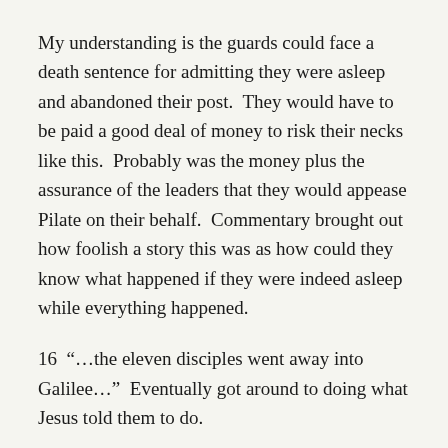My understanding is the guards could face a death sentence for admitting they were asleep and abandoned their post.  They would have to be paid a good deal of money to risk their necks like this.  Probably was the money plus the assurance of the leaders that they would appease Pilate on their behalf.  Commentary brought out how foolish a story this was as how could they know what happened if they were indeed asleep while everything happened.
16  “…the eleven disciples went away into Galilee…”  Eventually got around to doing what Jesus told them to do.
17  “…but some doubted”